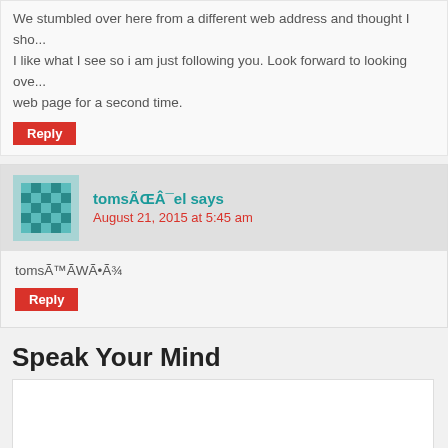We stumbled over here from a different web address and thought I sho... I like what I see so i am just following you. Look forward to looking ove... web page for a second time.
Reply
tomsÃŒÂ¯el says
August 21, 2015 at 5:45 am
tomsÃ™ÃWÃ•Ã¾
Reply
Speak Your Mind